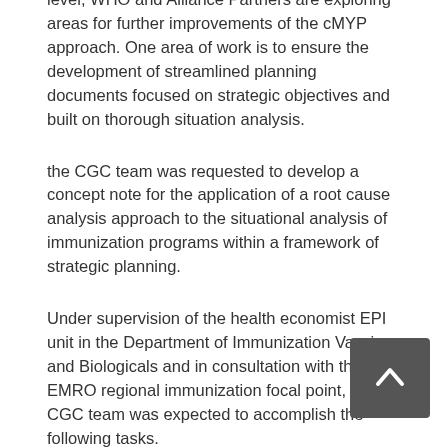level, WHO and Alliance Partners are exploring areas for further improvements of the cMYP approach. One area of work is to ensure the development of streamlined planning documents focused on strategic objectives and built on thorough situation analysis.
the CGC team was requested to develop a concept note for the application of a root cause analysis approach to the situational analysis of immunization programs within a framework of strategic planning.
Under supervision of the health economist EPI unit in the Department of Immunization Vaccines and Biologicals and in consultation with the EMRO regional immunization focal point, the CGC team was expected to accomplish the following tasks.
Develop a concept note on the use of root cause analysis for strategic planning to be applied during the cMYP development in Jordan and Yemen.
Review key documents on economic context,